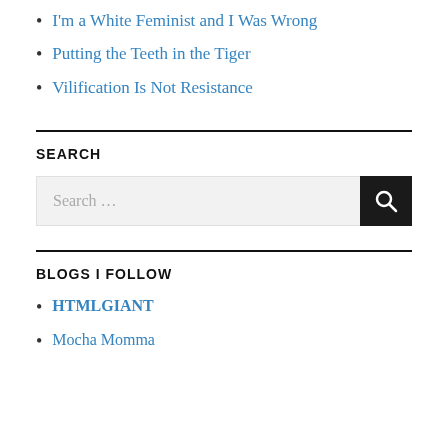I'm a White Feminist and I Was Wrong
Putting the Teeth in the Tiger
Vilification Is Not Resistance
SEARCH
BLOGS I FOLLOW
HTMLGIANT
Mocha Momma